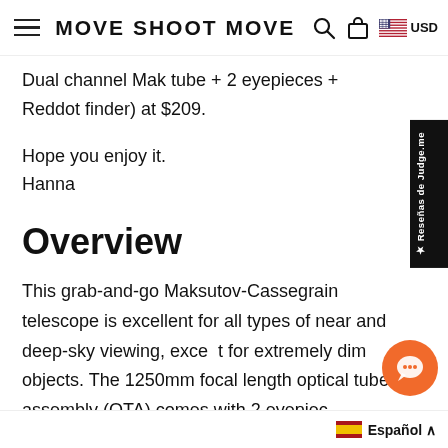MOVE SHOOT MOVE
Dual channel Mak tube + 2 eyepieces + Reddot finder) at $209.
Hope you enjoy it.
Hanna
Overview
This grab-and-go Maksutov-Cassegrain telescope is excellent for all types of near and deep-sky viewing, except for extremely dim objects. The 1250mm focal length optical tube assembly (OTA) comes with 2 eyepieces, 25mm and 12mm, providing 50x and 104x magnifi...